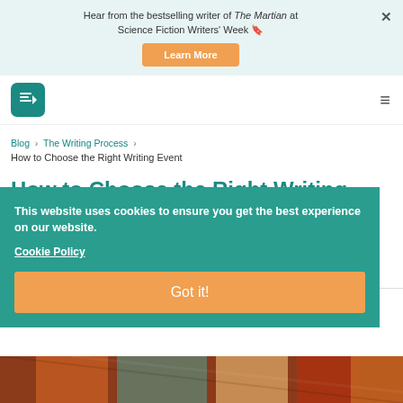Hear from the bestselling writer of The Martian at Science Fiction Writers' Week 🔖
Learn More
[Figure (logo): Reedsy logo: teal rounded square with white stylized book/pen icon]
Blog > The Writing Process > How to Choose the Right Writing Event
How to Choose the Right Writing Event
How to Choose the Right Writing Event
This website uses cookies to ensure you get the best experience on our website. Cookie Policy
Got it!
[Figure (photo): Photo strip at bottom showing crowd/people at a writing event]